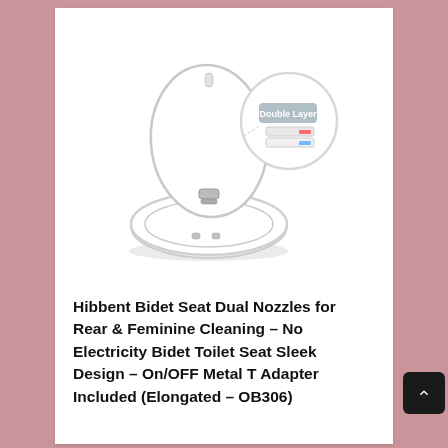[Figure (photo): Product photo of Hibbent Bidet Toilet Seat with dual nozzles. The image shows a white elongated toilet seat in open position with a circular inset detail showing 'Double Layer' construction of the nozzle area.]
Hibbent Bidet Seat Dual Nozzles for Rear & Feminine Cleaning – No Electricity Bidet Toilet Seat Sleek Design – On/OFF Metal T Adapter Included (Elongated – OB306)